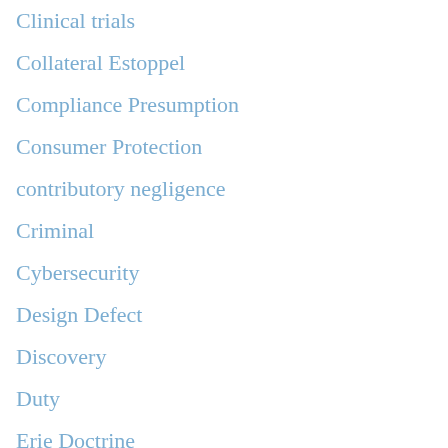Clinical trials
Collateral Estoppel
Compliance Presumption
Consumer Protection
contributory negligence
Criminal
Cybersecurity
Design Defect
Discovery
Duty
Erie Doctrine
Evidence